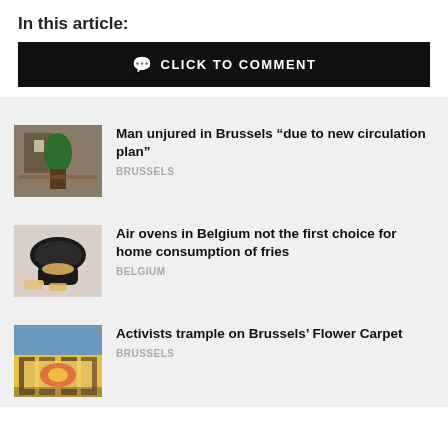In this article:
CLICK TO COMMENT
Man unjured in Brussels “due to new circulation plan”
BRUSSELS
Air ovens in Belgium not the first choice for home consumption of fries
BELGIUM
Activists trample on Brussels’ Flower Carpet
BRUSSELS